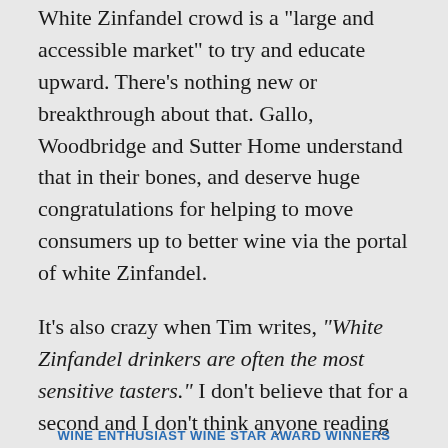White Zinfandel crowd is a "large and accessible market" to try and educate upward. There's nothing new or breakthrough about that. Gallo, Woodbridge and Sutter Home understand that in their bones, and deserve huge congratulations for helping to move consumers up to better wine via the portal of white Zinfandel.
It's also crazy when Tim writes, “White Zinfandel drinkers are often the most sensitive tasters.” I don’t believe that for a second and I don’t think anyone reading this does. Maybe the researchers pulled that rabbit out of their study’s hat, but come on. It just shows that you can come up with anything you want when you send a professor off to find something. If white Zinfandel is for the most sensitive tasters, consider me the dullest taster around.
WINE ENTHUSIAST WINE STAR AWARD WINNERS